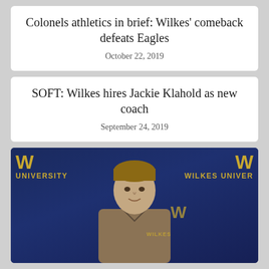Colonels athletics in brief: Wilkes' comeback defeats Eagles
October 22, 2019
SOFT: Wilkes hires Jackie Klahold as new coach
September 24, 2019
[Figure (photo): A man speaking at a Wilkes University press conference, standing in front of a navy blue backdrop with gold Wilkes University logos and text. The backdrop shows 'W UNIVERSITY' on the left and 'W WILKES UNIVER' on the right.]